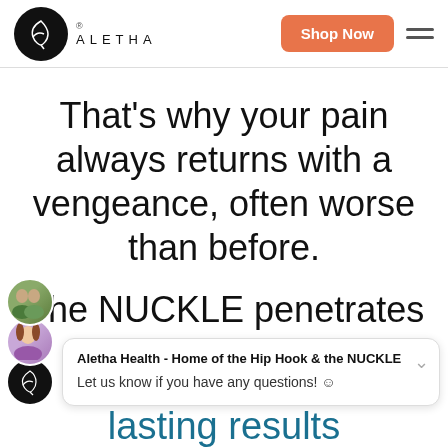[Figure (logo): Aletha brand logo with circular black icon and ALETHA wordmark, Shop Now orange button, and hamburger menu]
That’s why your pain always returns with a vengeance, often worse than before.
The NUCKLE penetrates
[Figure (screenshot): Chat bubble overlay from Aletha Health - Home of the Hip Hook & the NUCKLE, with avatars and message: Let us know if you have any questions!]
lasting results